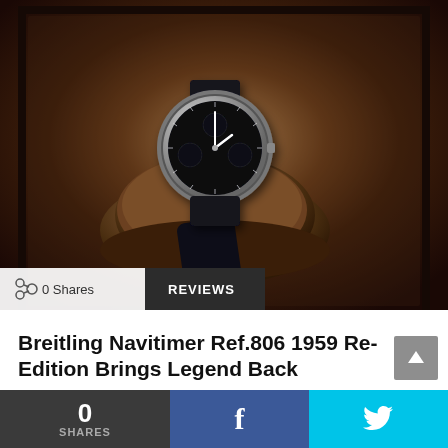[Figure (photo): A Breitling Navitimer watch with black dial and leather strap resting on a brown suede cylindrical cushion inside a dark leather tray, photographed from a slightly elevated angle.]
0 Shares
REVIEWS
Breitling Navitimer Ref.806 1959 Re-Edition Brings Legend Back
0
SHARES